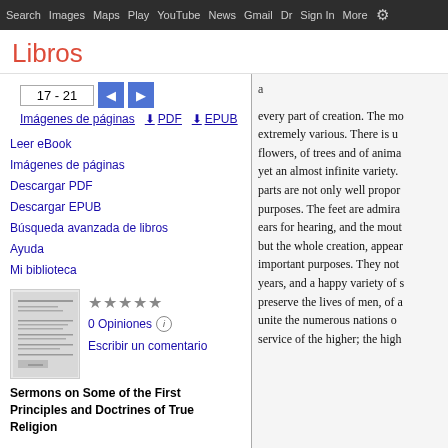Search  Images  Maps  Play  YouTube  News  Gmail  Dr Sign In More ⚙
Libros
17 - 21
Imágenes de páginas  ⬇ PDF  ⬇ EPUB
Leer eBook
Imágenes de páginas
Descargar PDF
Descargar EPUB
Búsqueda avanzada de libros
Ayuda
Mi biblioteca
★★★★★
0 Opiniones ⓘ
Escribir un comentario
Sermons on Some of the First Principles and Doctrines of True Religion
a

every part of creation. The mo extremely various. There is u flowers, of trees and of anima yet an almost infinite variety. parts are not only well propor purposes. The feet are admira ears for hearing, and the mout but the whole creation, appear important purposes. They not years, and a happy variety of s preserve the lives of men, of a unite the numerous nations o service of the higher; the high